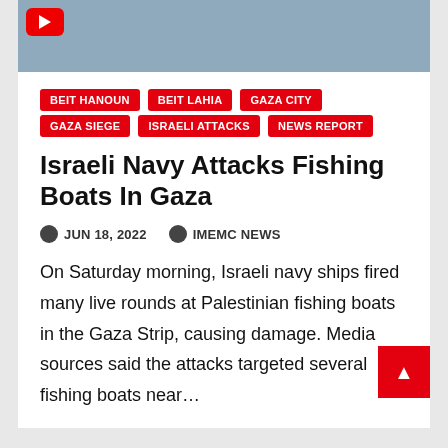[Figure (photo): Partial photo visible at top of page, appears to show a person with a red YouTube button icon overlay in the upper left corner of the image]
BEIT HANOUN
BEIT LAHIA
GAZA CITY
GAZA SIEGE
ISRAELI ATTACKS
NEWS REPORT
Israeli Navy Attacks Fishing Boats In Gaza
JUN 18, 2022   IMEMC NEWS
On Saturday morning, Israeli navy ships fired many live rounds at Palestinian fishing boats in the Gaza Strip, causing damage. Media sources said the attacks targeted several fishing boats near…